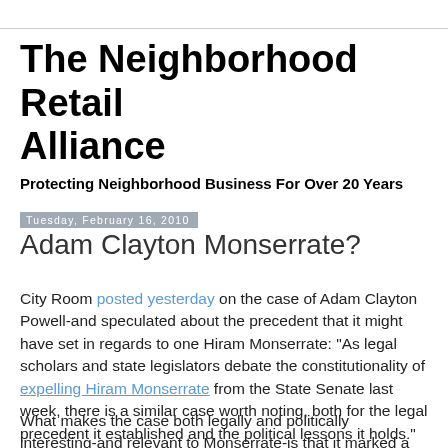The Neighborhood Retail Alliance
Protecting Neighborhood Business For Over 20 Years
Tuesday, February 16, 2010
Adam Clayton Monserrate?
City Room posted yesterday on the case of Adam Clayton Powell-and speculated about the precedent that it might have set in regards to one Hiram Monserrate: "As legal scholars and state legislators debate the constitutionality of expelling Hiram Monserrate from the State Senate last week, there is a similar case worth noting, both for the legal precedent it established and the political lessons it holds."
What makes the case both legally and politically interesting-and relevant to Monserrate-is that it marked a rare time